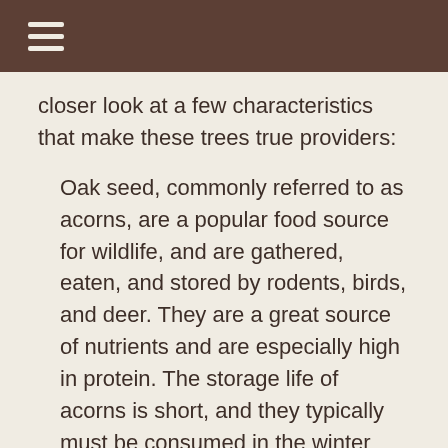≡
closer look at a few characteristics that make these trees true providers:
Oak seed, commonly referred to as acorns, are a popular food source for wildlife, and are gathered, eaten, and stored by rodents, birds, and deer. They are a great source of nutrients and are especially high in protein. The storage life of acorns is short, and they typically must be consumed in the winter following their collection. Those stashed in